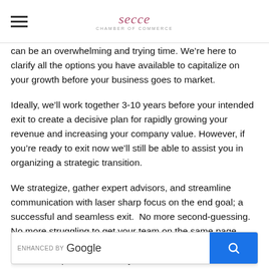secce (logo)
can be an overwhelming and trying time. We’re here to clarify all the options you have available to capitalize on your growth before your business goes to market.
Ideally, we’ll work together 3-10 years before your intended exit to create a decisive plan for rapidly growing your revenue and increasing your company value. However, if you’re ready to exit now we’ll still be able to assist you in organizing a strategic transition.
We strategize, gather expert advisors, and streamline communication with laser sharp focus on the end goal; a successful and seamless exit.  No more second-guessing. No more struggling to get your team on the same page. We’ll weigh the pros and cons and move forward with purpose. We want you to …riven, it puts you and your business at the center. We’ll craft a unique plan that lifts